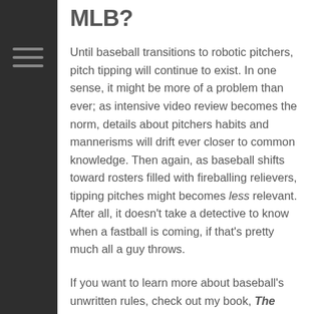MLB?
Until baseball transitions to robotic pitchers, pitch tipping will continue to exist. In one sense, it might be more of a problem than ever; as intensive video review becomes the norm, details about pitchers habits and mannerisms will drift ever closer to common knowledge. Then again, as baseball shifts toward rosters filled with fireballing relievers, tipping pitches might becomes less relevant. After all, it doesn't take a detective to know when a fastball is coming, if that's pretty much all a guy throws.
If you want to learn more about baseball's unwritten rules, check out my book, The Baseball Codes. It's available on audiobook, Kindle and paperback from your favorite bookseller. Grab a copy, and check out my other baseball titles, by clicking below. Thanks